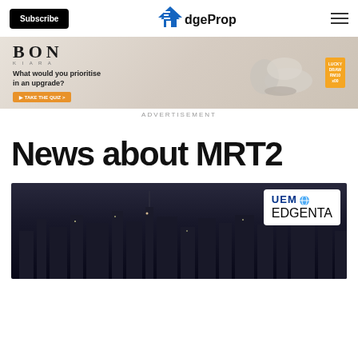Subscribe | EdgeProp
[Figure (illustration): BON Kiara advertisement banner asking 'What would you prioritise in an upgrade?' with a Take the Quiz button and sofa/furniture imagery]
ADVERTISEMENT
News about MRT2
[Figure (photo): Dark city skyline at night with UEM Edgenta logo badge in top right corner]